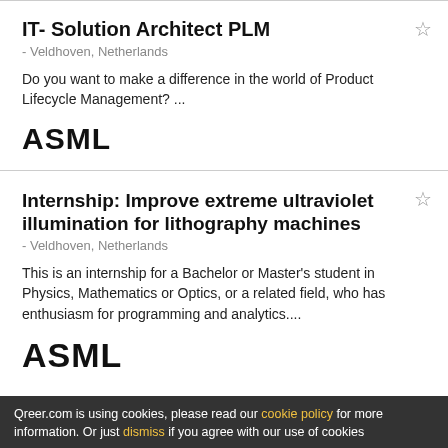IT- Solution Architect PLM
- Veldhoven, Netherlands
Do you want to make a difference in the world of Product Lifecycle Management? ...
[Figure (logo): ASML logo in bold black text]
Internship: Improve extreme ultraviolet illumination for lithography machines
- Veldhoven, Netherlands
This is an internship for a Bachelor or Master's student in Physics, Mathematics or Optics, or a related field, who has enthusiasm for programming and analytics....
[Figure (logo): ASML logo in bold black text, larger size]
Qreer.com is using cookies, please read our cookie policy for more information. Or just dismiss if you agree with our use of cookies